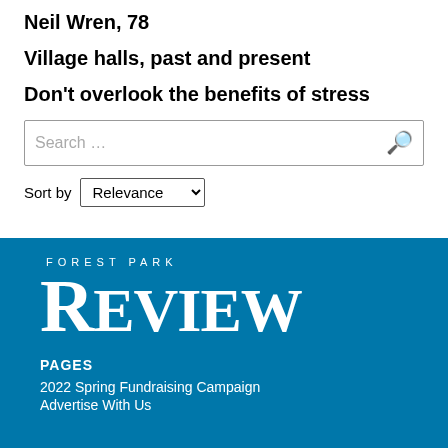Neil Wren, 78
Village halls, past and present
Don't overlook the benefits of stress
Search …
Sort by Relevance
[Figure (logo): Forest Park Review logo in white text on blue background]
PAGES
2022 Spring Fundraising Campaign
Advertise With Us